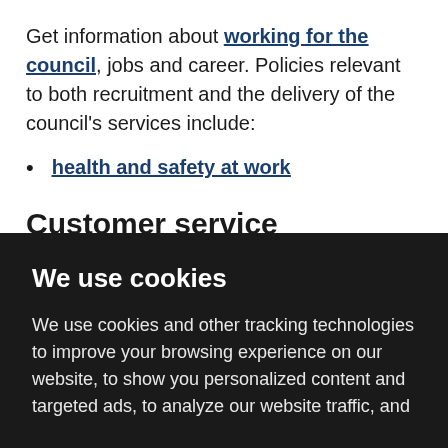Get information about working for the council, jobs and career. Policies relevant to both recruitment and the delivery of the council's services include:
health and safety at work
Customer service
We use cookies
We use cookies and other tracking technologies to improve your browsing experience on our website, to show you personalized content and targeted ads, to analyze our website traffic, and